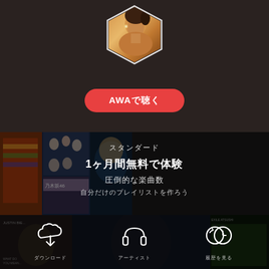[Figure (screenshot): Hexagonal profile photo of a woman with earrings, gold-toned background, white hexagonal border]
[Figure (screenshot): Red rounded button with white bold Japanese text 'AWAで聴く' (Listen on AWA)]
スタンダード
1ヶ月間無料で体験
圧倒的な楽曲数
自分だけのプレイリストを作ろう
[Figure (screenshot): Background music app collage with album art images and three white icons: download (cloud with arrow), headphones, and history (clock), with Japanese labels below]